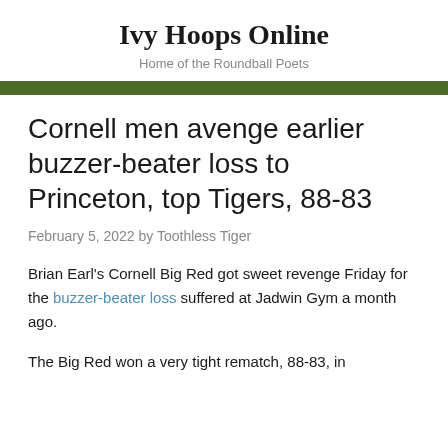Ivy Hoops Online
Home of the Roundball Poets
Cornell men avenge earlier buzzer-beater loss to Princeton, top Tigers, 88-83
February 5, 2022 by Toothless Tiger
Brian Earl's Cornell Big Red got sweet revenge Friday for the buzzer-beater loss suffered at Jadwin Gym a month ago.
The Big Red won a very tight rematch, 88-83, in